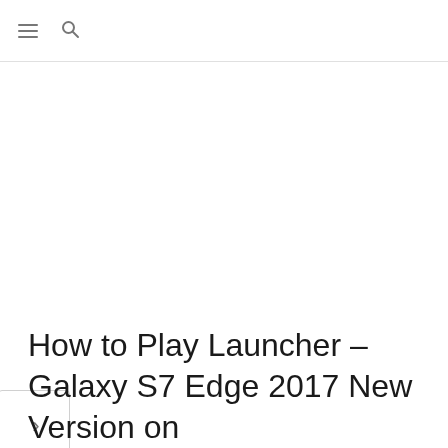≡ 🔍
[Figure (other): Navigation arrow button pointing right, positioned on left edge of page]
How to Play Launcher – Galaxy S7 Edge 2017 New Version on